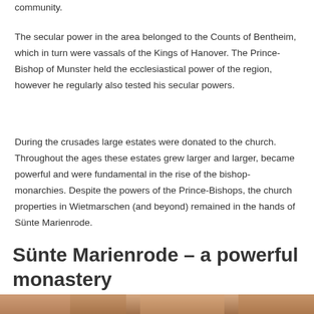community.
The secular power in the area belonged to the Counts of Bentheim, which in turn were vassals of the Kings of Hanover. The Prince-Bishop of Munster held the ecclesiastical power of the region, however he regularly also tested his secular powers.
During the crusades large estates were donated to the church. Throughout the ages these estates grew larger and larger, became powerful and were fundamental in the rise of the bishop-monarchies. Despite the powers of the Prince-Bishops, the church properties in Wietmarschen (and beyond) remained in the hands of Sünte Marienrode.
Sünte Marienrode – a powerful monastery
[Figure (photo): Bottom strip showing part of a photograph, partially visible at the bottom of the page.]